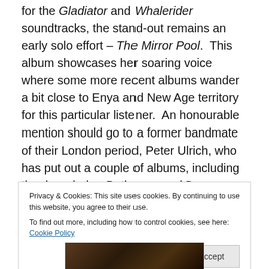for the Gladiator and Whalerider soundtracks, the stand-out remains an early solo effort – The Mirror Pool.  This album showcases her soaring voice where some more recent albums wander a bit close to Enya and New Age territory for this particular listener.  An honourable mention should go to a former bandmate of their London period, Peter Ulrich, who has put out a couple of albums, including the drum-laden Pathways and Dawns, with the wonderful American Indie label, Projekt Records.
Privacy & Cookies: This site uses cookies. By continuing to use this website, you agree to their use.
To find out more, including how to control cookies, see here: Cookie Policy
[Figure (photo): Partial view of a dark photograph at the bottom of the page, showing what appears to be people or figures in dim lighting]